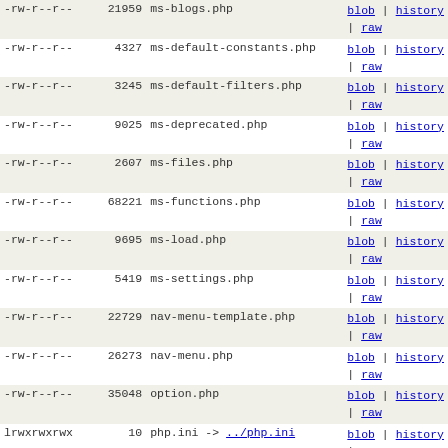| permissions | size | name | links |
| --- | --- | --- | --- |
| -rw-r--r-- | 21959 | ms-blogs.php | blob | history | raw |
| -rw-r--r-- | 4327 | ms-default-constants.php | blob | history | raw |
| -rw-r--r-- | 3245 | ms-default-filters.php | blob | history | raw |
| -rw-r--r-- | 9025 | ms-deprecated.php | blob | history | raw |
| -rw-r--r-- | 2607 | ms-files.php | blob | history | raw |
| -rw-r--r-- | 68221 | ms-functions.php | blob | history | raw |
| -rw-r--r-- | 9695 | ms-load.php | blob | history | raw |
| -rw-r--r-- | 5419 | ms-settings.php | blob | history | raw |
| -rw-r--r-- | 22729 | nav-menu-template.php | blob | history | raw |
| -rw-r--r-- | 26273 | nav-menu.php | blob | history | raw |
| -rw-r--r-- | 35048 | option.php | blob | history | raw |
| lrwxrwxrwx | 10 | php.ini -> ../php.ini | blob | history | raw |
| -rw-r--r-- | 5798 | pluggable-deprecated.php | blob | history | raw |
| -rw-r--r-- | 61577 | pluggable.php | blob | history | raw |
| -rw-r--r-- | 27958 | plugin.php | blob | history | raw |
| drwxr-xr-x | - | pomo | tree | history |
| -rw-r--r-- | 6839 | post-formats.php | blob | history | raw |
| -rw-r--r-- | 42960 | post-template.php | blob | history | raw |